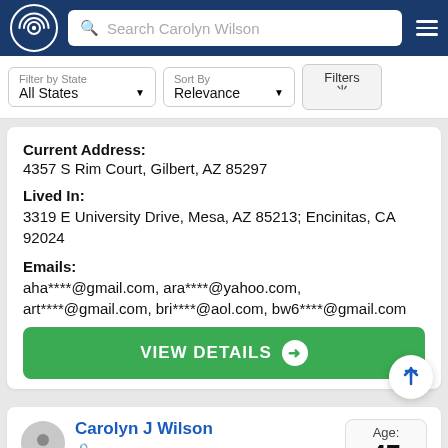Search Carolyn Wilson
Filter by State: All States | Sort By: Relevance | Filters
Current Address: 4357 S Rim Court, Gilbert, AZ 85297
Lived In: 3319 E University Drive, Mesa, AZ 85213; Encinitas, CA 92024
Emails: aha****@gmail.com, ara****@yahoo.com, art****@gmail.com, bri****@aol.com, bw6****@gmail.com
VIEW DETAILS →
Carolyn J Wilson | Age: 47